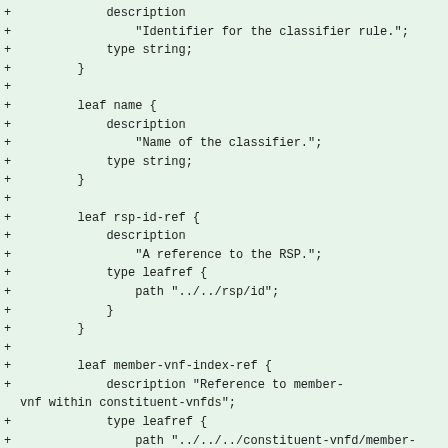Code diff showing YANG model additions for classifier rule, name, rsp-id-ref, and member-vnf-index-ref leaf nodes